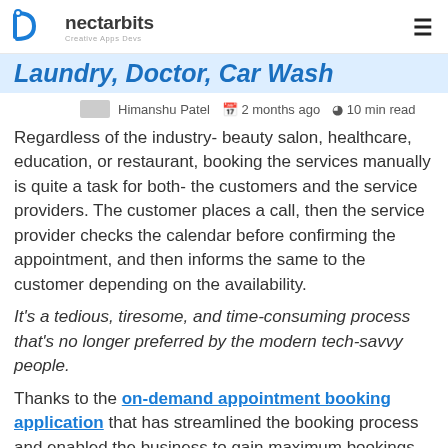nectarbits — Creative Apps Devs
Laundry, Doctor, Car Wash (partially visible/cropped)
Himanshu Patel  2 months ago  10 min read
Regardless of the industry- beauty salon, healthcare, education, or restaurant, booking the services manually is quite a task for both- the customers and the service providers. The customer places a call, then the service provider checks the calendar before confirming the appointment, and then informs the same to the customer depending on the availability.
It's a tedious, tiresome, and time-consuming process that's no longer preferred by the modern tech-savvy people.
Thanks to the on-demand appointment booking application that has streamlined the booking process and enabled the business to gain maximum bookings